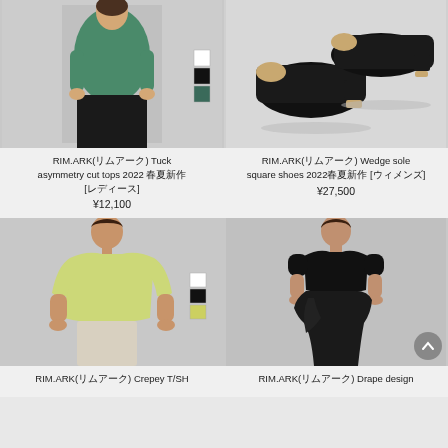[Figure (photo): Woman wearing a dark green sleeveless top with dark skirt, with color swatches (white, black, dark green) on side]
[Figure (photo): Black open-toe wedge sole square shoes on white background]
RIM.ARK(リムアーク) Tuck asymmetry cut tops 2022 春夏新作 [レディース] ¥12,100
RIM.ARK(リムアーク) Wedge sole square shoes 2022春夏新作 [ウィメンズ] ¥27,500
[Figure (photo): Woman wearing a light yellow-green three-quarter sleeve top with beige pants, color swatches visible]
[Figure (photo): Woman in all-black short-sleeve dress/top with long skirt, drape design]
RIM.ARK(リムアーク) Crepey T/SH
RIM.ARK(リムアーク) Drape design